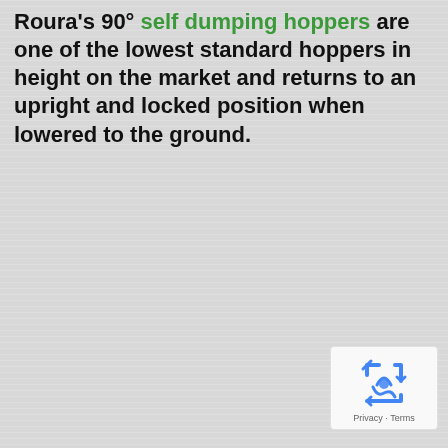Roura's 90° self dumping hoppers are one of the lowest standard hoppers in height on the market and returns to an upright and locked position when lowered to the ground.
[Figure (logo): Google reCAPTCHA badge with recycling arrow icon and Privacy/Terms links]